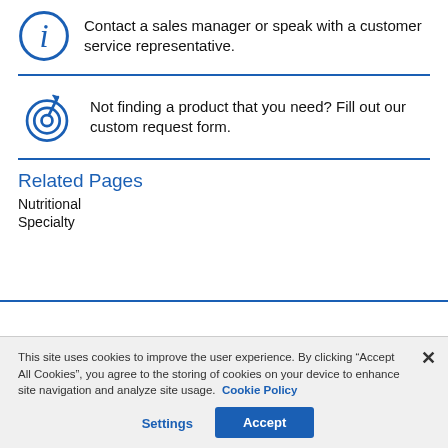Contact a sales manager or speak with a customer service representative.
Not finding a product that you need? Fill out our custom request form.
Related Pages
Nutritional
Specialty
This site uses cookies to improve the user experience. By clicking “Accept All Cookies”, you agree to the storing of cookies on your device to enhance site navigation and analyze site usage. Cookie Policy
Settings
Accept